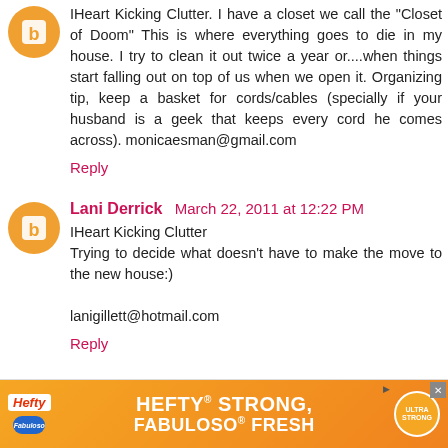IHeart Kicking Clutter. I have a closet we call the "Closet of Doom" This is where everything goes to die in my house. I try to clean it out twice a year or....when things start falling out on top of us when we open it. Organizing tip, keep a basket for cords/cables (specially if your husband is a geek that keeps every cord he comes across). monicaesman@gmail.com
Reply
Lani Derrick March 22, 2011 at 12:22 PM
IHeart Kicking Clutter
Trying to decide what doesn't have to make the move to the new house:)

lanigillett@hotmail.com
Reply
[Figure (other): Advertisement banner for Hefty and Fabuloso products. Orange background with white bold text reading 'HEFTY STRONG, FABULOSO FRESH'. Hefty logo on left, product badge on right.]